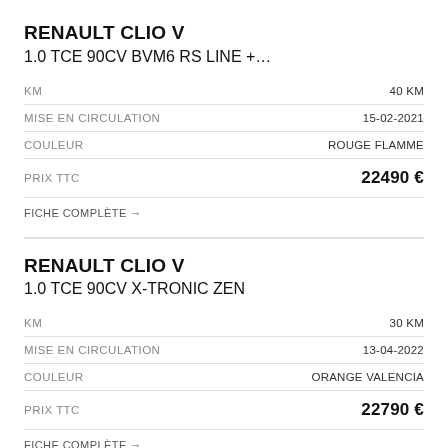RENAULT CLIO V
1.0 TCE 90CV BVM6 RS LINE +…
|  |  |
| --- | --- |
| KM | 40 km |
| MISE EN CIRCULATION | 15-02-2021 |
| COULEUR | ROUGE FLAMME |
| PRIX TTC | 22490 € |
FICHE COMPLÈTE →
RENAULT CLIO V
1.0 TCE 90CV X-TRONIC ZEN
|  |  |
| --- | --- |
| KM | 30 km |
| MISE EN CIRCULATION | 13-04-2022 |
| COULEUR | ORANGE VALENCIA |
| PRIX TTC | 22790 € |
FICHE COMPLÈTE →